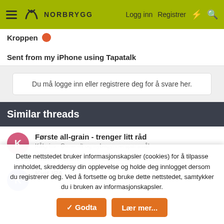NORBRYGG — Logg inn  Registrer
Kroppen
Sent from my iPhone using Tapatalk
Du må logge inn eller registrere deg for å svare her.
Similar threads
Første all-grain - trenger litt råd
Kålgrim · Generelt og nybegynnerspørsmål
Svar: 15 · 15 Apr 2021
Kvit IPA
Dette nettstedet bruker informasjonskapsler (cookies) for å tilpasse innholdet, skreddersy din opplevelse og holde deg innlogget dersom du registrerer deg. Ved å fortsette og bruke dette nettstedet, samtykker du i bruken av informasjonskapsler.